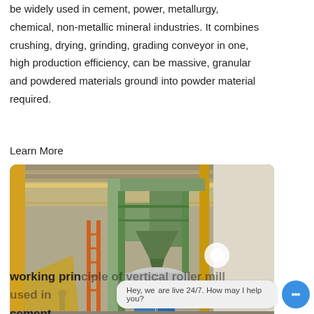be widely used in cement, power, metallurgy, chemical, non-metallic mineral industries. It combines crushing, drying, grinding, grading conveyor in one, high production efficiency, can be massive, granular and powdered materials ground into powder material required.
Learn More
[Figure (photo): Interior of an industrial facility showing large vertical roller mill machinery with green metal framework, yellow scaffolding, conveyor structures, and workers on the factory floor.]
working principle of vertical roller mill used in cement
Hey, we are live 24/7. How may I help you?